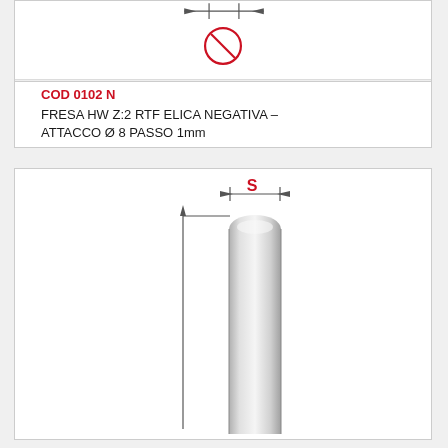[Figure (engineering-diagram): Top engineering diagram showing a diameter symbol (Ø) with dimension arrows, partial cross-section view of a milling cutter attachment]
COD 0102 N
FRESA HW Z:2 RTF ELICA NEGATIVA – ATTACCO Ø 8 PASSO 1mm
[Figure (engineering-diagram): Technical drawing of a cylindrical shank/end mill with dimension arrows indicating S (width) and height, showing a rounded top end with metallic shading]